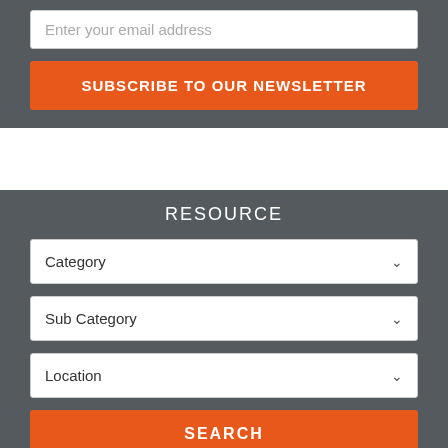Enter your email address
SUBSCRIBE TO OUR NEWSLETTER
RESOURCE
Category
Sub Category
Location
SEARCH
Next Articles
[Figure (photo): Interior photo of a restaurant or cafe with wooden furniture]
Pepperfry Launches Its New Studio In Marathahalli, Bangalore